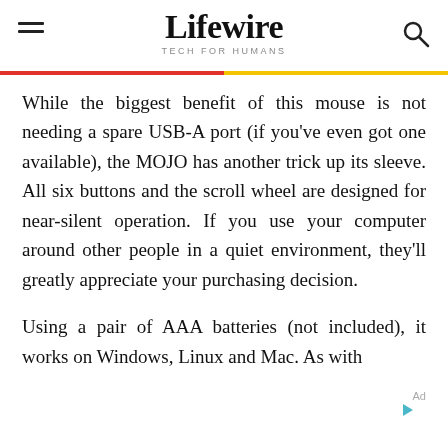Lifewire TECH FOR HUMANS
While the biggest benefit of this mouse is not needing a spare USB-A port (if you’ve even got one available), the MOJO has another trick up its sleeve. All six buttons and the scroll wheel are designed for near-silent operation. If you use your computer around other people in a quiet environment, they’ll greatly appreciate your purchasing decision.
Using a pair of AAA batteries (not included), it works on Windows, Linux and Mac. As with